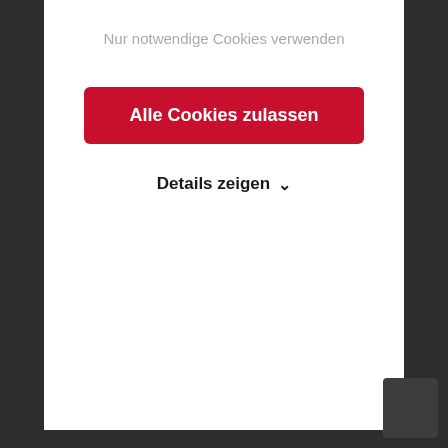Nur notwendige Cookies verwenden
Alle Cookies zulassen
Details zeigen ∨